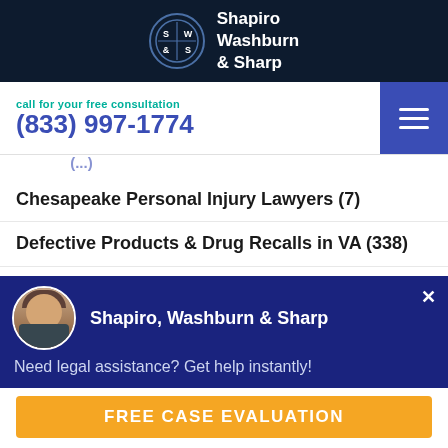[Figure (logo): Shapiro Washburn & Sharp law firm logo — circular dark navy emblem with S|W/&|S grid, white text on dark background, with firm name to the right]
call for your free consultation
(833) 997-1774
Chesapeake Personal Injury Lawyers (7)
Defective Products & Drug Recalls in VA (338)
Defective Products & Prescription Drug Recalls in NC (59)
Shapiro, Washburn & Sharp
Need legal assistance? Get help instantly!
FREE CASE EVALUATION